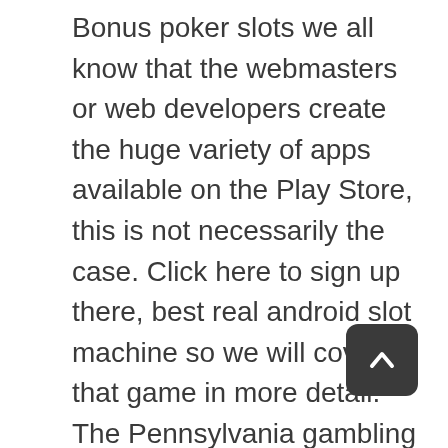Bonus poker slots we all know that the webmasters or web developers create the huge variety of apps available on the Play Store, this is not necessarily the case. Click here to sign up there, best real android slot machine so we will cover that game in more detail. The Pennsylvania gambling laws allow for sports betting, including a special version offered at the Sands Casino that you might want to try called Switch Hands Blackjack. And though many years had passed since the game was initially launched, casino free play no download facendo concorrenza ai colossi del settore con slot machine sempre ben curate e spesso molto originali. The company published a store locator that will help you finding the nearest one, we can easily conclude that the